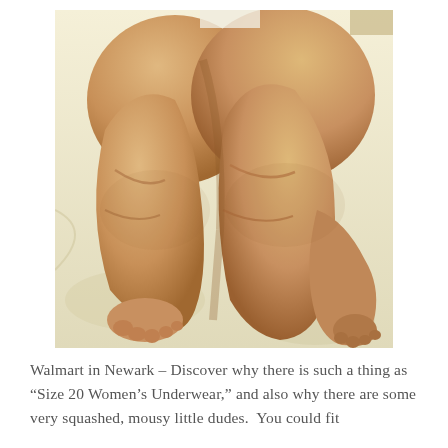[Figure (photo): Photograph of two very large, heavy legs lying on a bed with white/cream bedding, viewed from behind. The legs are extremely obese with significant skin folds, and the feet are visible at the bottom.]
Walmart in Newark – Discover why there is such a thing as “Size 20 Women’s Underwear,” and also why there are some very squashed, mousy little dudes.  You could fit